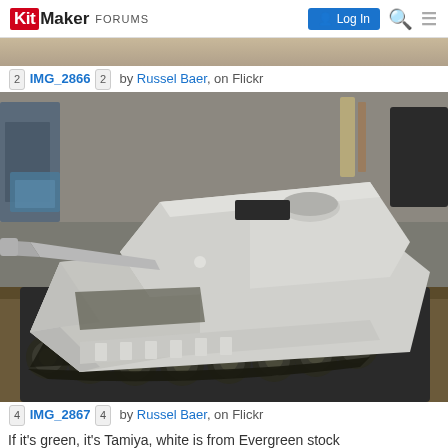KitMaker FORUMS | Log In
2 IMG_2866 2 by Russel Baer, on Flickr
[Figure (photo): Scale model of a Leopard tank in white/grey primer, sitting on a workbench in a hobby workspace, viewed from 3/4 front-left angle showing the main gun, turret, hull, tracks and road wheels.]
4 IMG_2867 4 by Russel Baer, on Flickr
If it's green, it's Tamiya, white is from Evergreen stock